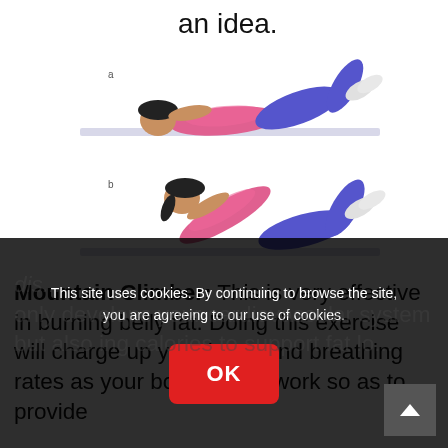an idea.
[Figure (photo): Two images of a woman doing a crunch/sit-up exercise on a mat. Top image shows starting position (lying flat with knees bent), bottom image shows the raised crunch position.]
Mountain Climber: This is very effective in burning belly fat. Doing this exercise will charge up your heart and breathing rates as your body has to work so as to provide... only develops your cardiovascular system but also burning calories to support fat loss.
This site uses cookies. By continuing to browse the site, you are agreeing to our use of cookies.